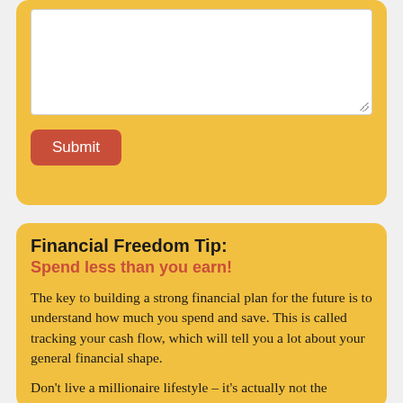[Figure (other): A text area input box (white rectangle) with a resize handle in the bottom-right corner, inside a golden-yellow rounded card]
Submit
Financial Freedom Tip:
Spend less than you earn!
The key to building a strong financial plan for the future is to understand how much you spend and save. This is called tracking your cash flow, which will tell you a lot about your general financial shape.
Don't live a millionaire lifestyle – it's actually not the same as millionaire living. The image of a lavish lifestyle...